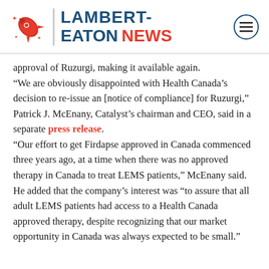LAMBERT-EATON NEWS
approval of Ruzurgi, making it available again.
“We are obviously disappointed with Health Canada’s decision to re-issue an [notice of compliance] for Ruzurgi,” Patrick J. McEnany, Catalyst’s chairman and CEO, said in a separate press release.
“Our effort to get Firdapse approved in Canada commenced three years ago, at a time when there was no approved therapy in Canada to treat LEMS patients,” McEnany said. He added that the company’s interest was “to assure that all adult LEMS patients had access to a Health Canada approved therapy, despite recognizing that our market opportunity in Canada was always expected to be small.”